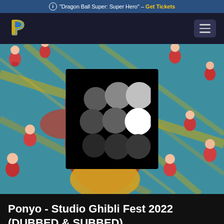"Dragon Ball Super: Super Hero" - Get Tickets
[Figure (logo): Ponyo/Studio Ghibli animated scene with small red fish-children flying through the air, and a loading spinner overlay (black square with grey and white circles in a scatter pattern) centered over the image]
Ponyo - Studio Ghibli Fest 2022 (DUBBED & SUBBED)